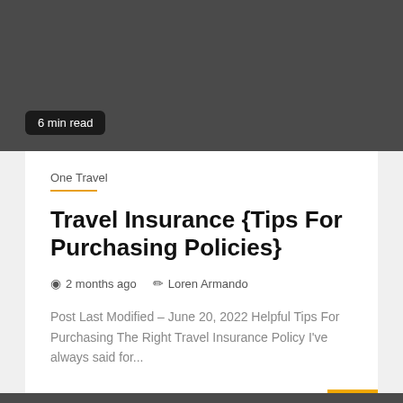[Figure (other): Dark gray banner header area]
6 min read
One Travel
Travel Insurance {Tips For Purchasing Policies}
2 months ago   Loren Armando
Post Last Modified – June 20, 2022 Helpful Tips For Purchasing The Right Travel Insurance Policy I've always said for...